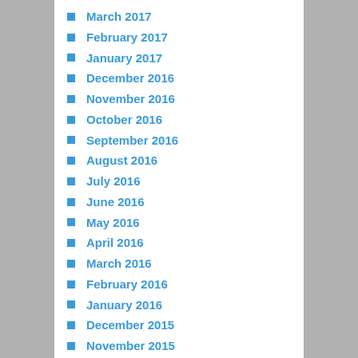March 2017
February 2017
January 2017
December 2016
November 2016
October 2016
September 2016
August 2016
July 2016
June 2016
May 2016
April 2016
March 2016
February 2016
January 2016
December 2015
November 2015
October 2015
September 2015
July 2015
June 2015